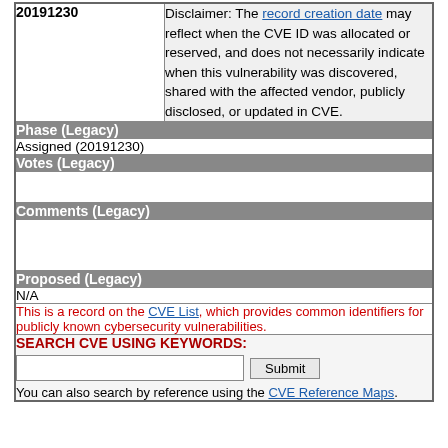| 20191230 | Disclaimer: The record creation date may reflect when the CVE ID was allocated or reserved, and does not necessarily indicate when this vulnerability was discovered, shared with the affected vendor, publicly disclosed, or updated in CVE. |
| Phase (Legacy) |  |
| Assigned (20191230) |  |
| Votes (Legacy) |  |
|  |  |
| Comments (Legacy) |  |
|  |  |
| Proposed (Legacy) |  |
| N/A |  |
This is a record on the CVE List, which provides common identifiers for publicly known cybersecurity vulnerabilities.
SEARCH CVE USING KEYWORDS:
You can also search by reference using the CVE Reference Maps.